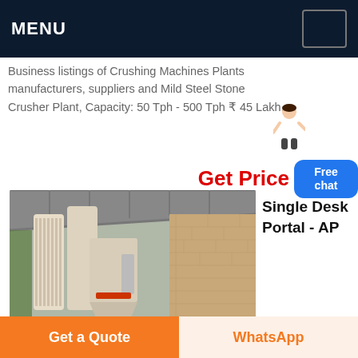MENU
Business listings of Crushing Machines Plants manufacturers, suppliers and Mild Steel Stone Crusher Plant, Capacity: 50 Tph - 500 Tph ₹ 45 Lakh.
Get Price
[Figure (photo): Industrial crushing machine plant inside a warehouse/factory building, showing large cylindrical silos and machinery]
Single Desk Portal - AP
Get a Quote
WhatsApp